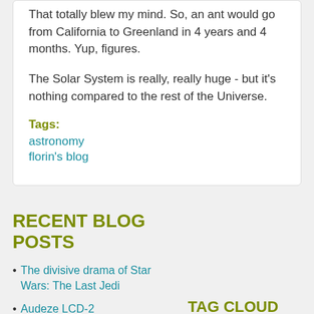That totally blew my mind. So, an ant would go from California to Greenland in 4 years and 4 months. Yup, figures.
The Solar System is really, really huge - but it's nothing compared to the rest of the Universe.
Tags:
astronomy
florin's blog
RECENT BLOG POSTS
The divisive drama of Star Wars: The Last Jedi
Audeze LCD-2
TAG CLOUD